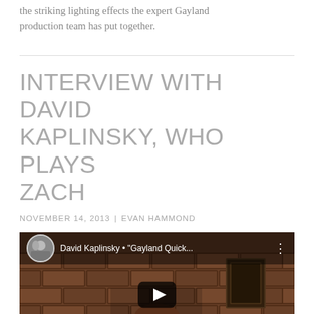the striking lighting effects the expert Gayland production team has put together.
INTERVIEW WITH DAVID KAPLINSKY, WHO PLAYS ZACH
NOVEMBER 14, 2013 | EVAN HAMMOND
[Figure (screenshot): Embedded YouTube video thumbnail showing David Kaplinsky in front of a brick wall, with video title 'David Kaplinsky • "Gayland Quick...' and a play button overlay.]